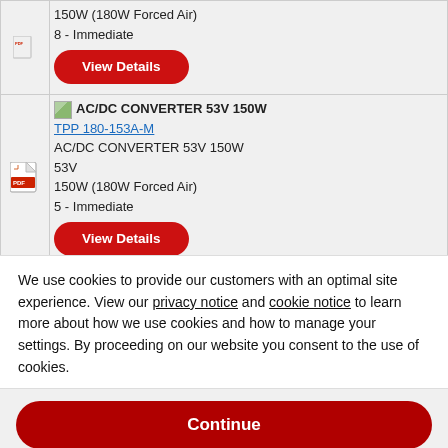|  | Product Info |
| --- | --- |
| [PDF icon] | 150W (180W Forced Air)
8 - Immediate
[View Details] |
| [PDF icon] | AC/DC CONVERTER 53V 150W
TPP 180-153A-M
AC/DC CONVERTER 53V 150W
53V
150W (180W Forced Air)
5 - Immediate
[View Details] |
We use cookies to provide our customers with an optimal site experience. View our privacy notice and cookie notice to learn more about how we use cookies and how to manage your settings. By proceeding on our website you consent to the use of cookies.
Continue
Exit
Privacy Notice
Suitable for industrial and medical applications